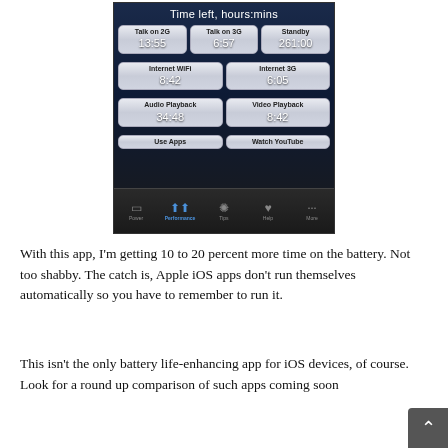[Figure (screenshot): iOS app screenshot showing battery time remaining in hours:mins with categories: Talk on 2G (13:55), Talk on 3G (6:57), Standby (261:00), Internet WiFi (8:42), Internet 3G (6:05), Audio Playback (34:48), Video Playback (8:42), Use Apps, Watch YouTube. Tab bar at bottom shows Power, Performance (active), Tips, Help, More.]
With this app, I'm getting 10 to 20 percent more time on the battery. Not too shabby. The catch is, Apple iOS apps don't run themselves automatically so you have to remember to run it.
This isn't the only battery life-enhancing app for iOS devices, of course. Look for a round up comparison of such apps coming soon.